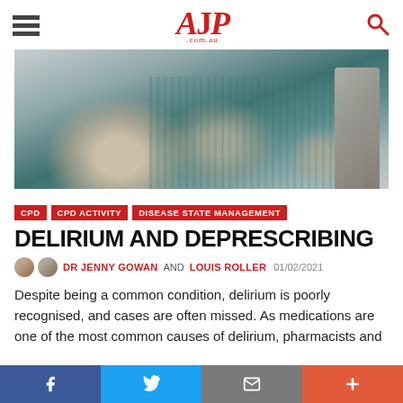AJP.com.au
[Figure (photo): Close-up photo of hands, likely a healthcare worker or patient interaction related to pharmacy/medicine care.]
CPD | CPD ACTIVITY | DISEASE STATE MANAGEMENT
DELIRIUM AND DEPRESCRIBING
DR JENNY GOWAN AND LOUIS ROLLER 01/02/2021
Despite being a common condition, delirium is poorly recognised, and cases are often missed. As medications are one of the most common causes of delirium, pharmacists and
f | Twitter | Mail | +